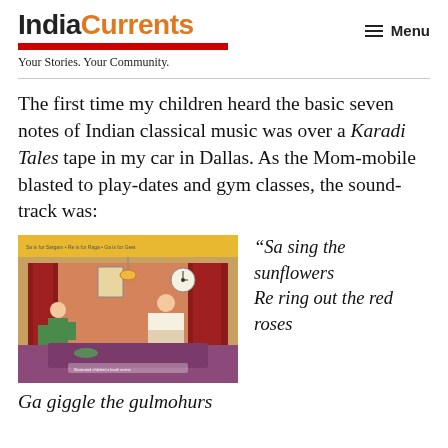IndiaCurrents — Your Stories. Your Community. Menu
The first time my children heard the basic seven notes of Indian classical music was over a Karadi Tales tape in my car in Dallas. As the Mom-mobile blasted to play-dates and gym classes, the sound-track was:
[Figure (illustration): Illustration from a Karadi Tales book showing a traditional Indian scene with a woman in a saree and a man sitting cross-legged, with colorful room decor.]
“Sa sing the sunflowers Re ring out the red roses
Ga giggle the gulmohurs